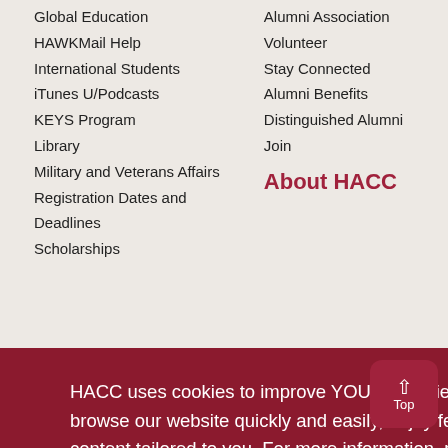Global Education
HAWKMail Help
International Students
iTunes U/Podcasts
KEYS Program
Library
Military and Veterans Affairs
Registration Dates and Deadlines
Scholarships
Alumni Association
Volunteer
Stay Connected
Alumni Benefits
Distinguished Alumni
Join
About HACC
HACC uses cookies to improve YOUR experience on our website. Cookies allow you to browse our website quickly and easily, enjoy features like social sharing and view content tailored to you. For more information, please read our privacy policy.
I accept